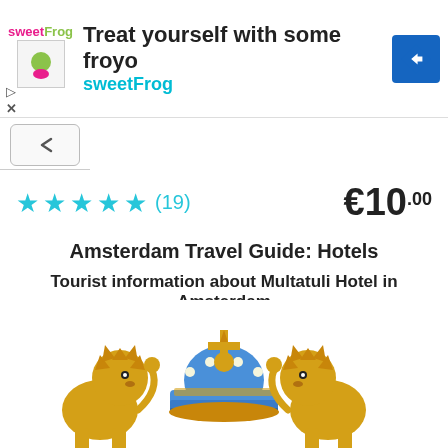[Figure (screenshot): SweetFrog frozen yogurt advertisement banner with logo, headline 'Treat yourself with some froyo', brand name 'sweetFrog', and navigation arrow icon]
[Figure (screenshot): Back/chevron navigation button in a rounded rectangle]
★★★★★ (19)   €10.00
Amsterdam Travel Guide: Hotels
Tourist information about Multatuli Hotel in Amsterdam
Amsterdam-Travel-Guide.Net
cookies to ensure you get the best experience on our website learn more
[Figure (illustration): Amsterdam city coat of arms with two golden lions and an imperial crown against a blue and gold heraldic background]